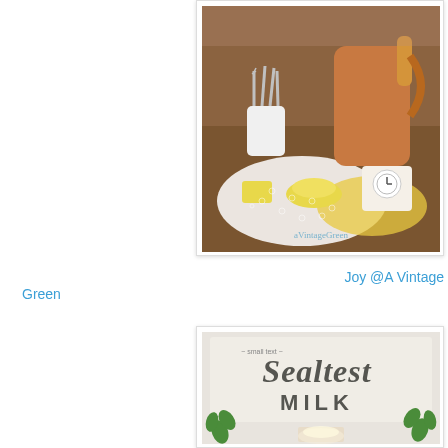[Figure (photo): Vintage home decor vignette on a wooden tray with white lace doily, yellow crocheted doily, copper pitcher, silver utensils in a white cup, small yellow ceramic dish, and a white vintage mantel clock. Watermark reads 'aVintageGreen'.]
Joy @A Vintage Green
[Figure (photo): Vintage 'Sealtest Milk' sign on a white distressed wood board, partially visible with green plant sprigs on either side and a lit lamp below.]